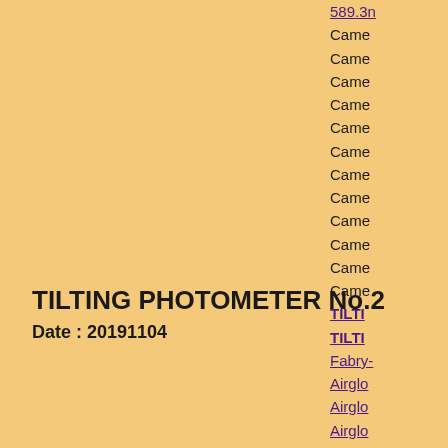TILTING PHOTOMETER No.2
Date : 20191104
Click figure to enlarge
589.3n
Came
Came
Came
Came
Came
Came
Came
Came
Came
Came
Came
Came
TILTI
TILTI
Fabry-
Airglo
Airglo
Airglo
Airglo
3-ch p
3-ch p